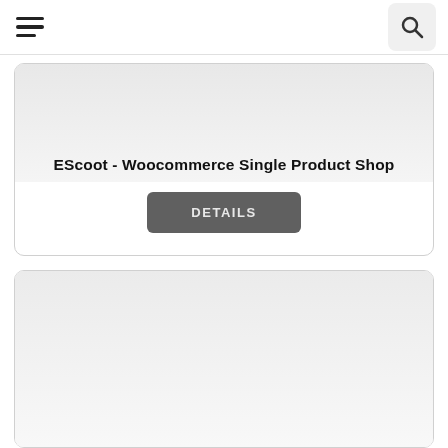Navigation bar with hamburger menu and search button
EScoot - Woocommerce Single Product Shop
DETAILS
[Figure (other): Second product card with light grey background, partially visible]